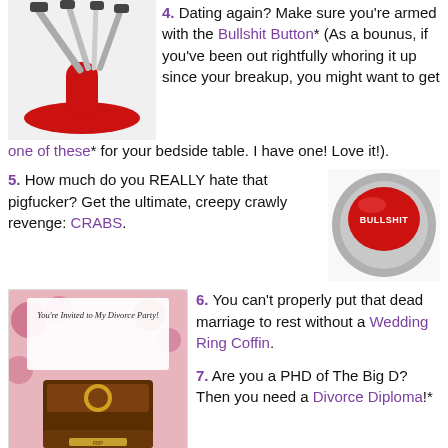[Figure (photo): Red knife set on a red stand, top-left of page]
4. Dating again? Make sure you're armed with the Bullshit Button* (As a bounus, if you've been out rightfully whoring it up since your breakup, you might want to get one of these* for your bedside table. I have one! Love it!).
5. How much do you REALLY hate that pigfucker? Get the ultimate, creepy crawly revenge: CRABS.
[Figure (photo): Red Bullshit button, round red button with BULLSHIT text on top]
[Figure (photo): Divorce party invitation card with ring box and roses]
6. You can't properly put that dead marriage to rest without a Wedding Ring Coffin.
7. Are you a PHD of The Big D? Then you need a Divorce Diploma!*
8. Send your ex-lover bouquets of dead flowers, a box of melted chocolates or a dead fish from ThePayback.com.
To help us celebrate Anti-Valentines Day, all of the orphaned